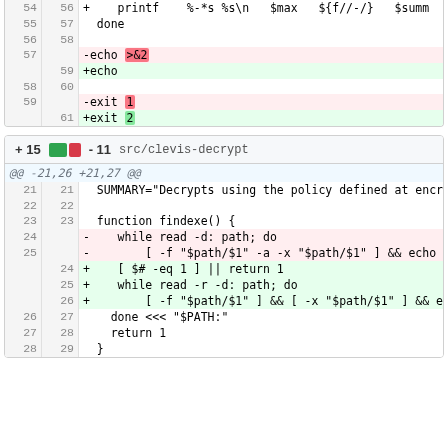[Figure (screenshot): Code diff showing two blocks. First block shows lines 55-61 with changes: '-echo >&2' replaced by '+echo', and '-exit 1' replaced by '+exit 2'. Second block shows file header '+ 15 - 11 src/clevis-decrypt' with hunk @@ -21,26 +21,27 @@ and changes to findexe() function including removal of 'while read -d: path; do' and '[ -f "$path/$1" -a -x "$path/$1" ] && echo' lines, replaced with '[ $# -eq 1 ] || return 1', 'while read -r -d: path; do', '[ -f "$path/$1" ] && [ -x "$path/$1" ] && e', plus context lines for 'done <<< "$PATH:"', 'return 1', and '}'.]